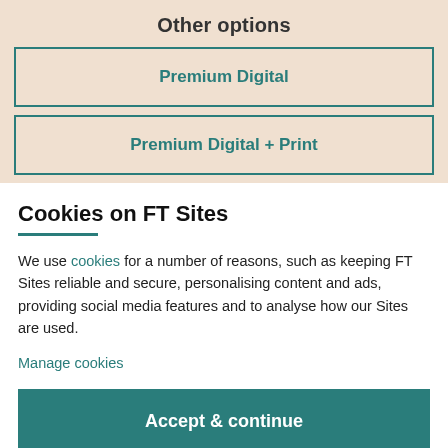Other options
Premium Digital
Premium Digital + Print
Cookies on FT Sites
We use cookies for a number of reasons, such as keeping FT Sites reliable and secure, personalising content and ads, providing social media features and to analyse how our Sites are used.
Manage cookies
Accept & continue